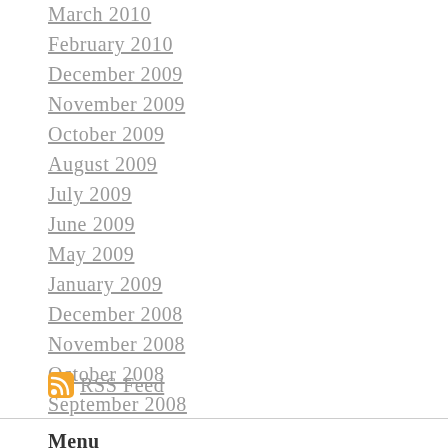March 2010
February 2010
December 2009
November 2009
October 2009
August 2009
July 2009
June 2009
May 2009
January 2009
December 2008
November 2008
October 2008
September 2008
RSS Feed
Menu